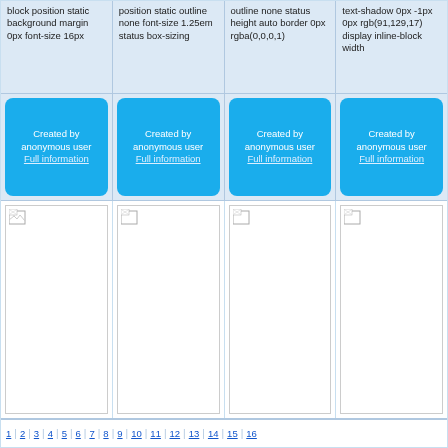block position static background margin 0px font-size 16px
position static outline none font-size 1.25em status box-sizing
outline none status height auto border 0px rgba(0,0,0,1)
text-shadow 0px -1px 0px rgb(91,129,17) display inline-block width
Created by anonymous user Full information
Created by anonymous user Full information
Created by anonymous user Full information
Created by anonymous user Full information
[Figure (other): Broken image placeholder]
[Figure (other): Broken image placeholder]
[Figure (other): Broken image placeholder]
[Figure (other): Broken image placeholder]
1 | 2 | 3 | 4 | 5 | 6 | 7 | 8 | 9 | 10 | 11 | 12 | 13 | 14 | 15 | 16